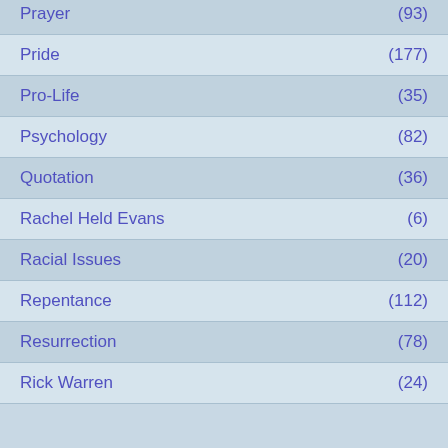Prayer (93)
Pride (177)
Pro-Life (35)
Psychology (82)
Quotation (36)
Rachel Held Evans (6)
Racial Issues (20)
Repentance (112)
Resurrection (78)
Rick Warren (24)